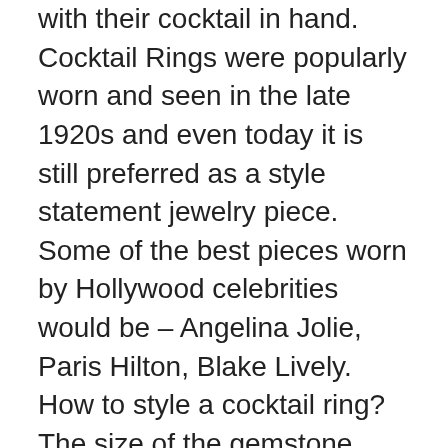with their cocktail in hand. Cocktail Rings were popularly worn and seen in the late 1920s and even today it is still preferred as a style statement jewelry piece. Some of the best pieces worn by Hollywood celebrities would be – Angelina Jolie, Paris Hilton, Blake Lively. How to style a cocktail ring? The size of the gemstone does matter. After all, cocktail rings are meant to be attention-grabbing, not unnoticeable. So how can you know when your beautiful piece will arrive? Check if there are any delays within your state or country. Please find out the relevant charges before ordering. If you are unsure, kindly reach out to us and we will be able to help you to our best of our ability. What is